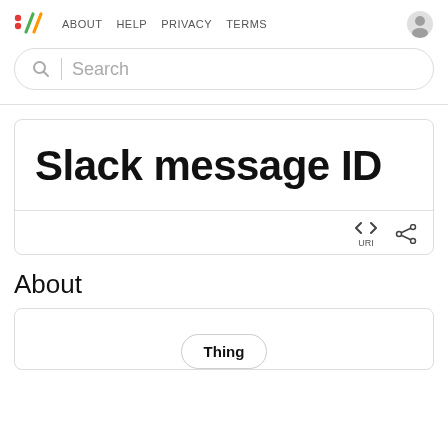:// ABOUT HELP PRIVACY TERMS
Search
Slack message ID
URI
About
Thing